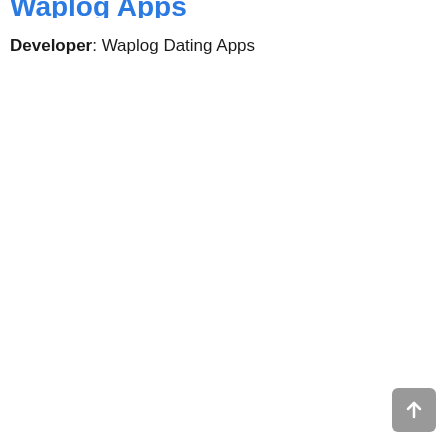Waplog Apps
Developer: Waplog Dating Apps